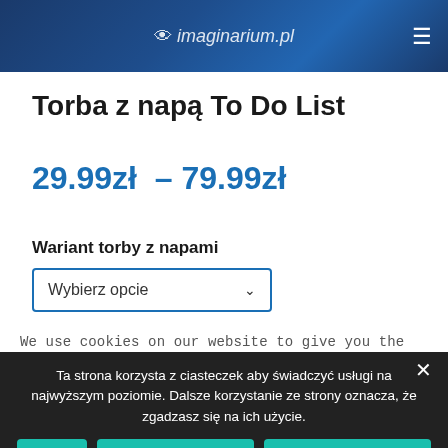[Figure (screenshot): Website header with dark blue background showing logo text and hamburger menu icon]
Torba z napą To Do List
29.99zł – 79.99zł
Wariant torby z napami
Wybierz opcie
We use cookies on our website to give you the most
Ta strona korzysta z ciasteczek aby świadczyć usługi na najwyższym poziomie. Dalsze korzystanie ze strony oznacza, że zgadzasz się na ich użycie.
Zgoda
Nie wyrażam zgody
Polityka prywatności